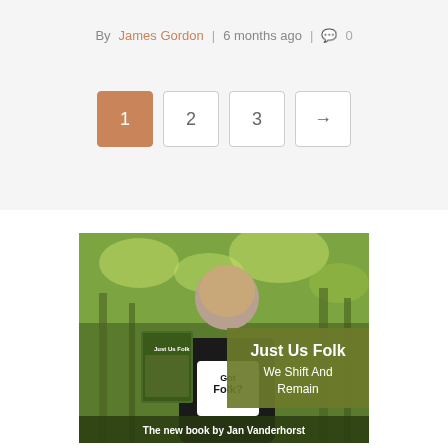By James Gordon | 6 months ago | 0
Pagination: 1 2 3 →
[Figure (photo): A man holding a book titled 'Just Us Folk' with text overlay 'Just Us Folk We Shift And Remain' and bottom text 'The new book by Jan Vanderhorst'. He is wearing a 'Got Folk?' t-shirt and standing in front of trees.]